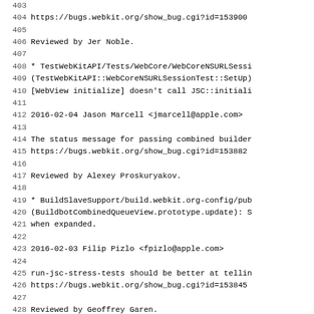404     https://bugs.webkit.org/show_bug.cgi?id=153900
405
406         Reviewed by Jer Noble.
407
408         * TestWebKitAPI/Tests/WebCore/WebCoreNSURLSessi
409         (TestWebKitAPI::WebCoreNSURLSessionTest::SetUp)
410         [WebView initialize] doesn't call JSC::initiali
411
412 2016-02-04  Jason Marcell  <jmarcell@apple.com>
413
414         The status message for passing combined builder
415         https://bugs.webkit.org/show_bug.cgi?id=153882
416
417         Reviewed by Alexey Proskuryakov.
418
419         * BuildSlaveSupport/build.webkit.org-config/pub
420         (BuildbotCombinedQueueView.prototype.update): S
421         when expanded.
422
423 2016-02-03  Filip Pizlo  <fpizlo@apple.com>
424
425         run-jsc-stress-tests should be better at tellin
426         https://bugs.webkit.org/show_bug.cgi?id=153845
427
428         Reviewed by Geoffrey Garen.
429
430         Here's an example of the contents of results/re
431         generates, for some local testing I'm doing.  N
432
433         You won't see this unless you cat results/resul
434
435         regress.yaml/Regress/radar-24289839.js: